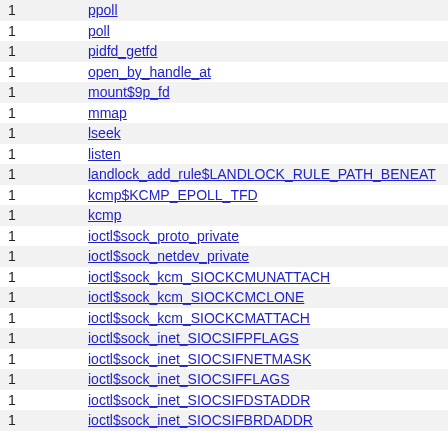| count | name |
| --- | --- |
| 1 | ppoll |
| 1 | poll |
| 1 | pidfd_getfd |
| 1 | open_by_handle_at |
| 1 | mount$9p_fd |
| 1 | mmap |
| 1 | lseek |
| 1 | listen |
| 1 | landlock_add_rule$LANDLOCK_RULE_PATH_BENEATH |
| 1 | kcmp$KCMP_EPOLL_TFD |
| 1 | kcmp |
| 1 | ioctl$sock_proto_private |
| 1 | ioctl$sock_netdev_private |
| 1 | ioctl$sock_kcm_SIOCKCMUNATTACH |
| 1 | ioctl$sock_kcm_SIOCKCMCLONE |
| 1 | ioctl$sock_kcm_SIOCKCMATTACH |
| 1 | ioctl$sock_inet_SIOCSIFPFLAGS |
| 1 | ioctl$sock_inet_SIOCSIFNETMASK |
| 1 | ioctl$sock_inet_SIOCSIFFLAGS |
| 1 | ioctl$sock_inet_SIOCSIFDSTADDR |
| 1 | ioctl$sock_inet_SIOCSIFBRDADDR |